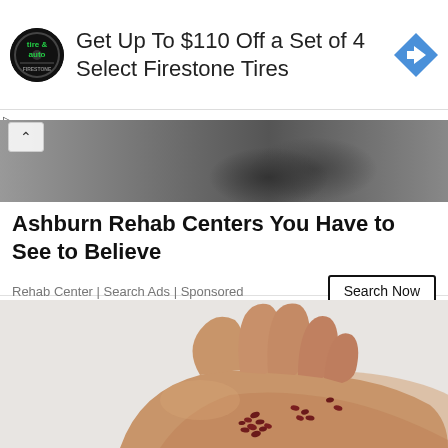[Figure (other): Advertisement banner: Firestone tire & auto logo on left, text 'Get Up To $110 Off a Set of 4 Select Firestone Tires', blue diamond arrow icon on right]
[Figure (photo): Partial street scene photo showing people walking, dark and grayscale tones with a chevron/up-arrow navigation button overlay]
Ashburn Rehab Centers You Have to See to Believe
Rehab Center | Search Ads | Sponsored
[Figure (photo): Close-up photo of an open human hand/palm holding scattered small dark red seeds or berries against a light background]